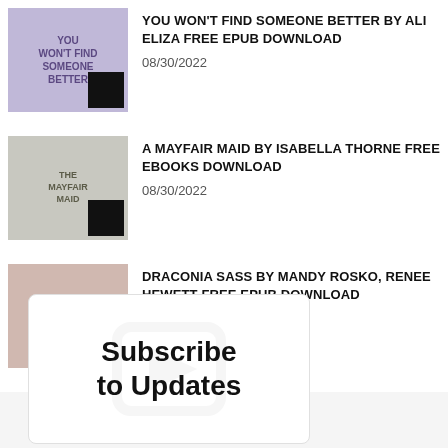[Figure (illustration): Book cover thumbnail for 'You Won't Find Someone Better' with black overlay square]
YOU WON'T FIND SOMEONE BETTER BY ALI ELIZA FREE EPUB DOWNLOAD
08/30/2022
[Figure (illustration): Book cover thumbnail for 'A Mayfair Maid' by Isabella Thorne with black overlay square]
A MAYFAIR MAID BY ISABELLA THORNE FREE EBOOKS DOWNLOAD
08/30/2022
[Figure (illustration): Book cover thumbnail for 'Draconia Sass' by Mandy Rosko, Renee Hewett with black overlay square]
DRACONIA SASS BY MANDY ROSKO, RENEE HEWETT FREE EPUB DOWNLOAD
08/30/2022
Subscribe to Updates